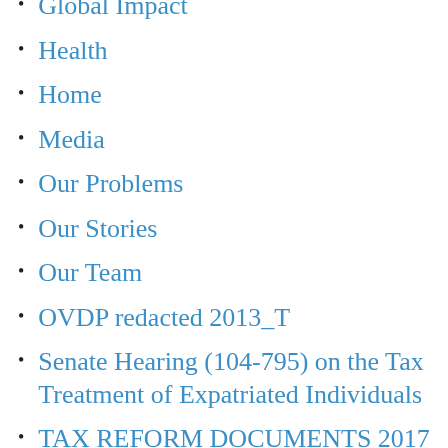Global Impact
Health
Home
Media
Our Problems
Our Stories
Our Team
OVDP redacted 2013_T
Senate Hearing (104-795) on the Tax Treatment of Expatriated Individuals
TAX REFORM DOCUMENTS 2017
The Issue
Think you can leave the US? Think again!
Treasury Department Responds to Rep Posey's Letter Regarding #FATCA
U.S. FATCA Lawsuit July 2016 Appeal